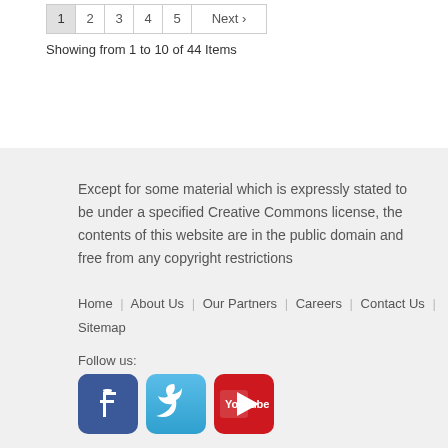Showing from 1 to 10 of 44 Items
Except for some material which is expressly stated to be under a specified Creative Commons license, the contents of this website are in the public domain and free from any copyright restrictions
Home | About Us | Our Partners | Careers | Contact Us | Sitemap
Follow us:
[Figure (infographic): Social media icons for Facebook, Twitter, and YouTube]